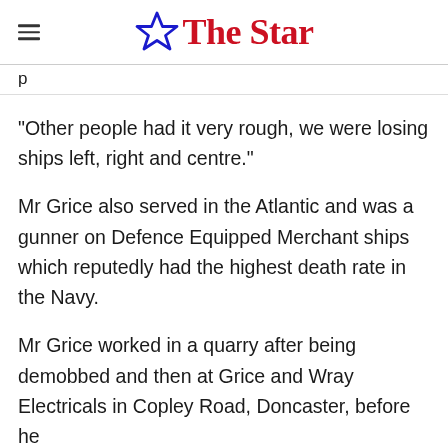The Star
p
"Other people had it very rough, we were losing ships left, right and centre."
Mr Grice also served in the Atlantic and was a gunner on Defence Equipped Merchant ships which reputedly had the highest death rate in the Navy.
Mr Grice worked in a quarry after being demobbed and then at Grice and Wray Electricals in Copley Road, Doncaster, before he